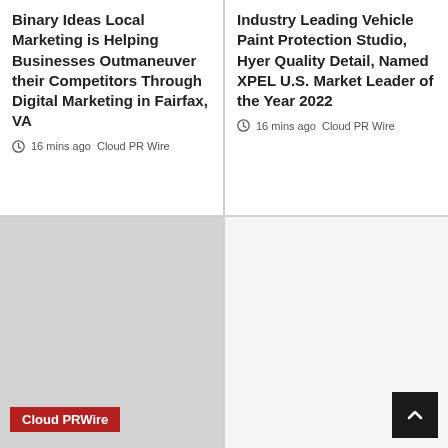Binary Ideas Local Marketing is Helping Businesses Outmaneuver their Competitors Through Digital Marketing in Fairfax, VA
16 mins ago  Cloud PR Wire
Industry Leading Vehicle Paint Protection Studio, Hyer Quality Detail, Named XPEL U.S. Market Leader of the Year 2022
16 mins ago  Cloud PR Wire
[Figure (photo): Gray placeholder image with Cloud PRWire red label at bottom left]
[Figure (other): Dark back-to-top button with chevron arrow at bottom right]